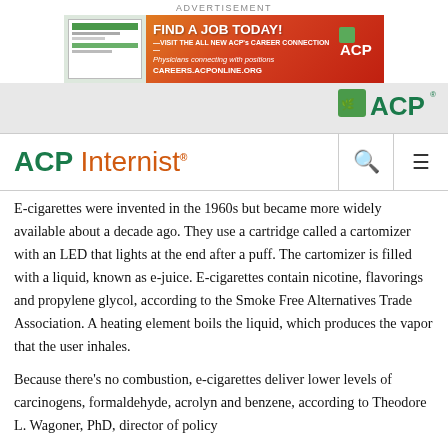ADVERTISEMENT
[Figure (illustration): ACP Career Connection advertisement banner: 'FIND A JOB TODAY! VISIT THE ALL NEW ACP's CAREER CONNECTION — Physicians connecting with positions — CAREERS.ACPONLINE.ORG' with ACP logo]
ACP logo navigation bar
ACP Internist
E-cigarettes were invented in the 1960s but became more widely available about a decade ago. They use a cartridge called a cartomizer with an LED that lights at the end after a puff. The cartomizer is filled with a liquid, known as e-juice. E-cigarettes contain nicotine, flavorings and propylene glycol, according to the Smoke Free Alternatives Trade Association. A heating element boils the liquid, which produces the vapor that the user inhales.
Because there's no combustion, e-cigarettes deliver lower levels of carcinogens, formaldehyde, acrolyn and benzene, according to Theodore L. Wagoner, PhD, director of policy